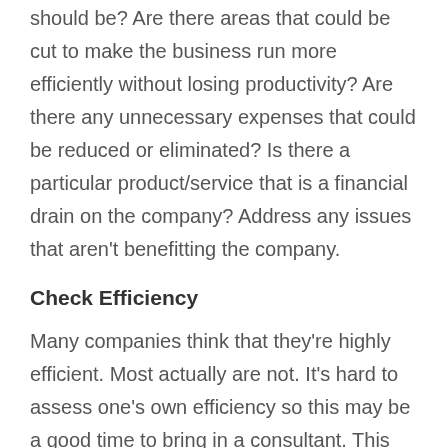should be? Are there areas that could be cut to make the business run more efficiently without losing productivity? Are there any unnecessary expenses that could be reduced or eliminated? Is there a particular product/service that is a financial drain on the company? Address any issues that aren't benefitting the company.
Check Efficiency
Many companies think that they're highly efficient. Most actually are not. It's hard to assess one's own efficiency so this may be a good time to bring in a consultant. This person can give an honest assessment of everything from employee productivity levels to manufacturing